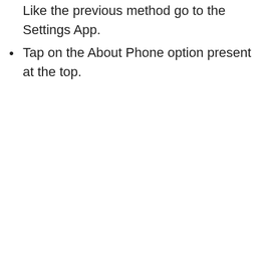Like the previous method go to the Settings App.
Tap on the About Phone option present at the top.